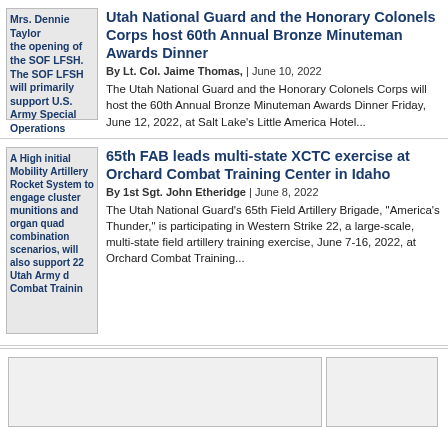[Figure (photo): Thumbnail image of person in urban combat scenario, overlaid with blue bold text about SOF LFSH]
Utah National Guard and the Honorary Colonels Corps host 60th Annual Bronze Minuteman Awards Dinner
By Lt. Col. Jaime Thomas, | June 10, 2022
The Utah National Guard and the Honorary Colonels Corps will host the 60th Annual Bronze Minuteman Awards Dinner Friday, June 12, 2022, at Salt Lake's Little America Hotel...
[Figure (photo): Thumbnail image of artillery/military equipment overlaid with blue bold text about 65th FAB XCTC exercise]
65th FAB leads multi-state XCTC exercise at Orchard Combat Training Center in Idaho
By 1st Sgt. John Etheridge | June 8, 2022
The Utah National Guard's 65th Field Artillery Brigade, "America's Thunder," is participating in Western Strike 22, a large-scale, multi-state field artillery training exercise, June 7-16, 2022, at Orchard Combat Training...
[Figure (photo): Bottom image placeholder left]
[Figure (photo): Bottom image placeholder right]